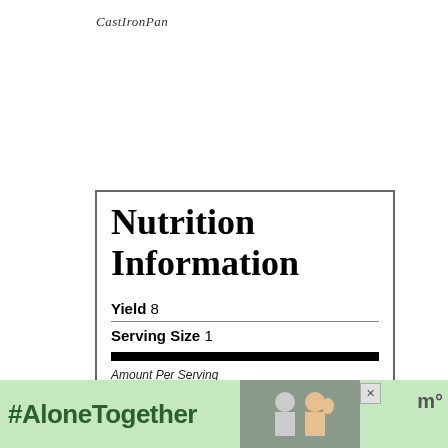CastIronPan
Nutrition Information
Yield 8
Serving Size 1
Amount Per Serving
Calories 242
Total Fat 15g
Saturated Fat 6g
[Figure (photo): Advertisement banner at bottom: #AloneTogether with photo of people and an X close button]